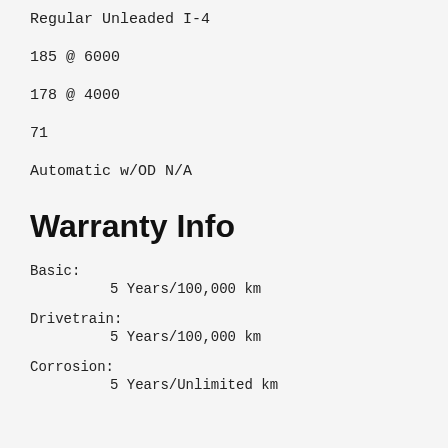Regular Unleaded I-4
185 @ 6000
178 @ 4000
71
Automatic w/OD N/A
Warranty Info
Basic:
5 Years/100,000 km
Drivetrain:
5 Years/100,000 km
Corrosion:
5 Years/Unlimited km